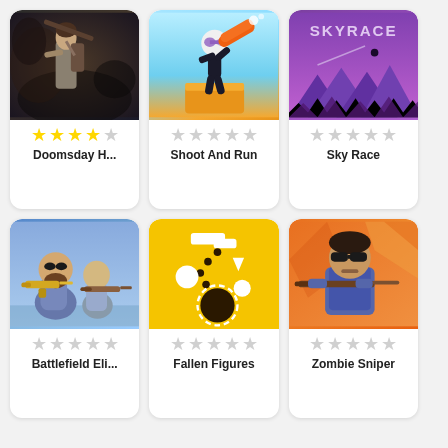[Figure (illustration): Game card: Doomsday H... - post-apocalyptic woman with gun, dark background, 4 filled stars, 1 empty star]
[Figure (illustration): Game card: Shoot And Run - cartoon stick figure with orange bazooka on orange cube, light blue background, 5 empty stars]
[Figure (illustration): Game card: Sky Race - purple/pink minimalist game with SKYRACE text, triangle shapes, 5 empty stars]
[Figure (illustration): Game card: Battlefield Eli... - two cartoon bald figures with guns, blue sky background, 5 empty stars]
[Figure (illustration): Game card: Fallen Figures - yellow background with dots and geometric shapes forming figure, 5 empty stars]
[Figure (illustration): Game card: Zombie Sniper - cartoon man with shotgun, orange background with angular shapes, 5 empty stars]